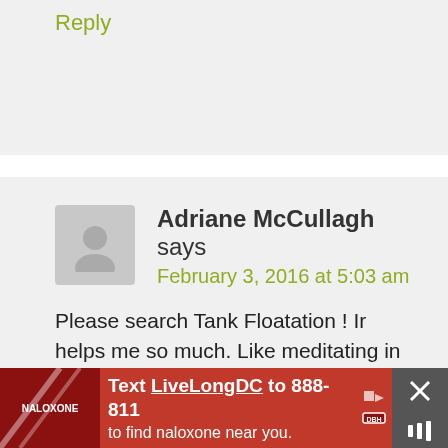Reply
Adriane McCullagh says
February 3, 2016 at 5:03 am
Please search Tank Floatation ! Ir helps me so much. Like meditating in a pool!!!
Reply
[Figure (infographic): Red advertisement banner at bottom: Text LiveLongDC to 888-811 to find naloxone near you, with DBH logo and close/mute buttons]